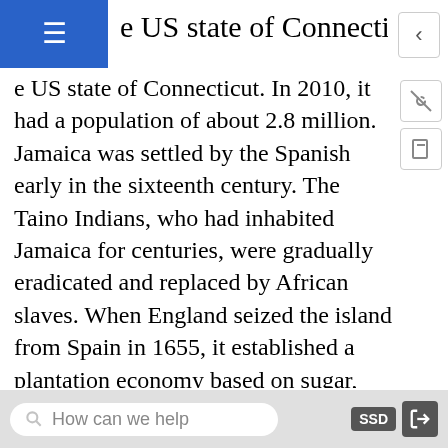e US state of Connecticut. In 2010, it had a population of about 2.8 million. Jamaica was settled by the Spanish early in the sixteenth century. The Taino Indians, who had inhabited Jamaica for centuries, were gradually eradicated and replaced by African slaves. When England seized the island from Spain in 1655, it established a plantation economy based on sugar, cocoa, and coffee. Two hundred years later (1834), the abolition of slavery freed a quarter million slaves, many of whom became small farmers. Jamaica gradually obtained independence from Britain, with full independence achieved in 1962. Sugar, cocoa, and coffee production continue on the island, of which more than half is mountainous. The Blue Mountains of eastern Jamaica are known for